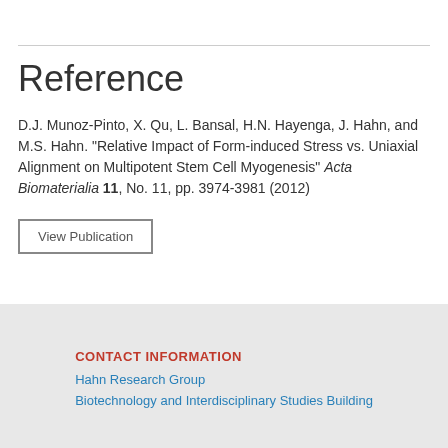Reference
D.J. Munoz-Pinto, X. Qu, L. Bansal, H.N. Hayenga, J. Hahn, and M.S. Hahn. "Relative Impact of Form-induced Stress vs. Uniaxial Alignment on Multipotent Stem Cell Myogenesis" Acta Biomaterialia 11, No. 11, pp. 3974-3981 (2012)
View Publication
CONTACT INFORMATION
Hahn Research Group
Biotechnology and Interdisciplinary Studies Building